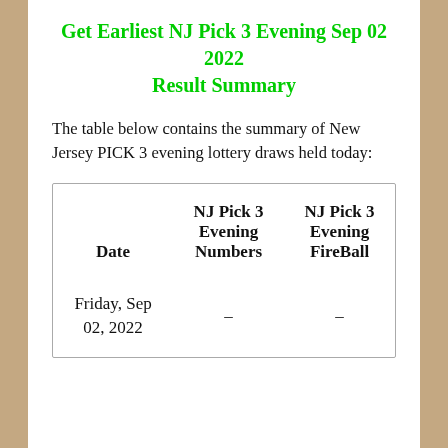Get Earliest NJ Pick 3 Evening Sep 02 2022 Result Summary
The table below contains the summary of New Jersey PICK 3 evening lottery draws held today:
| Date | NJ Pick 3 Evening Numbers | NJ Pick 3 Evening FireBall |
| --- | --- | --- |
| Friday, Sep 02, 2022 | – | – |